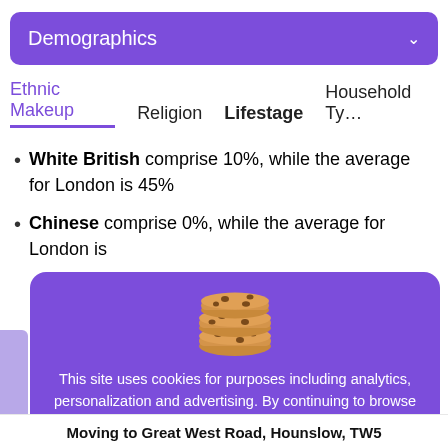Demographics
Ethnic Makeup   Religion   Lifestage   Household Ty…
White British comprise 10%, while the average for London is 45%
Chinese comprise 0%, while the average for London is
This site uses cookies for purposes including analytics, personalization and advertising. By continuing to browse this website you agree to this use. For more information see our Privacy Policy
Got it
Moving to Great West Road, Hounslow, TW5